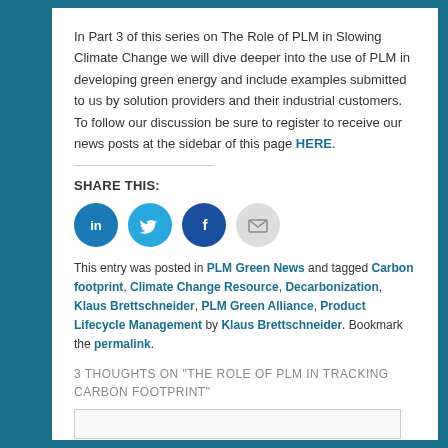In Part 3 of this series on The Role of PLM in Slowing Climate Change we will dive deeper into the use of PLM in developing green energy and include examples submitted to us by solution providers and their industrial customers. To follow our discussion be sure to register to receive our news posts at the sidebar of this page HERE.
SHARE THIS:
[Figure (infographic): Four social sharing icons: LinkedIn (blue circle), Twitter (blue circle), Facebook (dark blue circle), Email (grey circle)]
This entry was posted in PLM Green News and tagged Carbon footprint, Climate Change Resource, Decarbonization, Klaus Brettschneider, PLM Green Alliance, Product Lifecycle Management by Klaus Brettschneider. Bookmark the permalink.
3 THOUGHTS ON "THE ROLE OF PLM IN TRACKING CARBON FOOTPRINT"